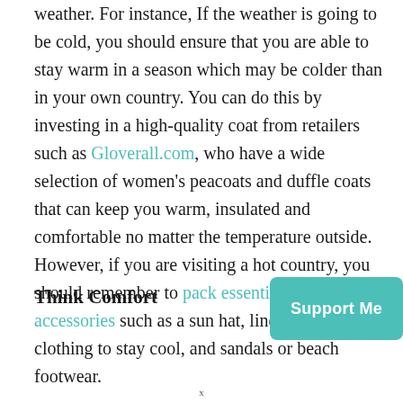weather. For instance, If the weather is going to be cold, you should ensure that you are able to stay warm in a season which may be colder than in your own country. You can do this by investing in a high-quality coat from retailers such as Gloverall.com, who have a wide selection of women's peacoats and duffle coats that can keep you warm, insulated and comfortable no matter the temperature outside. However, if you are visiting a hot country, you should remember to pack essential travel accessories such as a sun hat, linen, or cotton clothing to stay cool, and sandals or beach footwear.
Think Comfort
[Figure (other): Teal rounded rectangle button labeled 'Support Me']
x